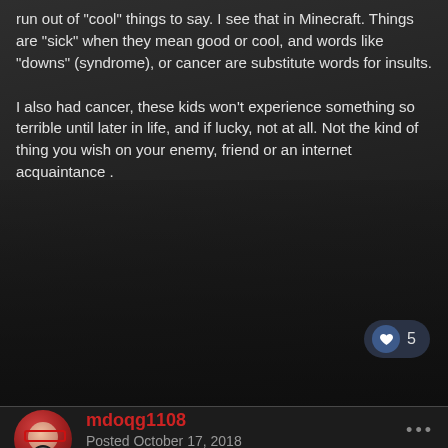run out of "cool" things to say.  I see that in Minecraft.  Things are "sick" when they mean good or cool, and words like "downs" (syndrome), or cancer are substitute words for insults.

I also had cancer, these kids won't experience something so terrible until later in life, and if lucky, not at all.  Not the kind of thing you wish on your enemy, friend or an internet acquaintance .
[Figure (other): Like/reaction button showing a heart icon and the number 5 on a dark rounded pill-shaped background]
[Figure (photo): User avatar photo of a person wearing red glasses, with a round red-toned profile image. Below it a small grey badge/medal icon.]
mdoqg1108
Posted October 17, 2018
Hey TankHole go fuck yourself and if Manny unbans you I'll make your life a living hell in Renegade until I get punished myself. That's a promise.